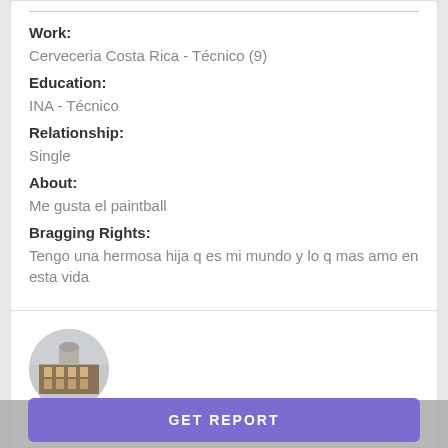Work:
Cerveceria Costa Rica - Técnico (9)
Education:
INA - Técnico
Relationship:
Single
About:
Me gusta el paintball
Bragging Rights:
Tengo una hermosa hija q es mi mundo y lo q mas amo en esta vida
[Figure (photo): Circular profile photo showing a building/church exterior]
Pedro Vargas